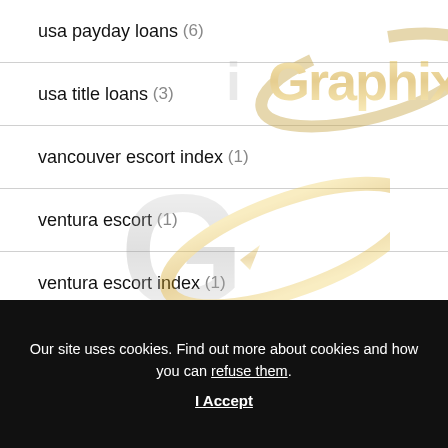usa payday loans (6)
usa title loans (3)
vancouver escort index (1)
ventura escort (1)
ventura escort index (1)
Verlieb-dich test (1)
[Figure (logo): iGraphix watermark logo — silver G with gold orbit ring and pen nib, appearing multiple times as background watermark]
Our site uses cookies. Find out more about cookies and how you can refuse them.
I Accept